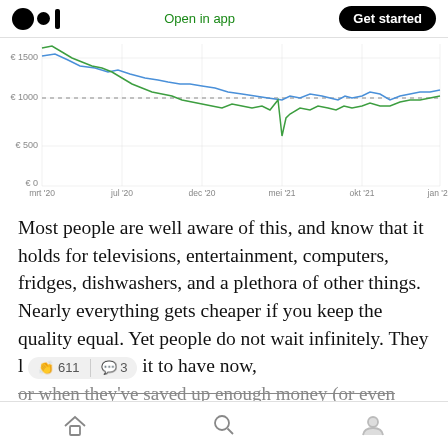Open in app | Get started
[Figure (line-chart): Two-line chart (blue and green) showing price trends from mrt 2020 to jan 2022, with y-axis labels €0, €500, €1000, €1500 and a dashed horizontal line at €1000]
Most people are well aware of this, and know that it holds for televisions, entertainment, computers, fridges, dishwashers, and a plethora of other things. Nearly everything gets cheaper if you keep the quality equal. Yet people do not wait infinitely. They l [611 claps | 3 comments] it to have now, or when they've saved up enough money (or even
Home | Search | Profile